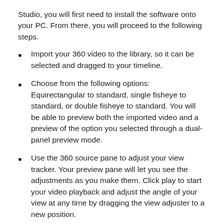Studio, you will first need to install the software onto your PC. From there, you will proceed to the following steps.
Import your 360 video to the library, so it can be selected and dragged to your timeline.
Choose from the following options: Equirectangular to standard, single fisheye to standard, or double fisheye to standard. You will be able to preview both the imported video and a preview of the option you selected through a dual-panel preview mode.
Use the 360 source pane to adjust your view tracker. Your preview pane will let you see the adjustments as you make them. Click play to start your video playback and adjust the angle of your view at any time by dragging the view adjuster to a new position.